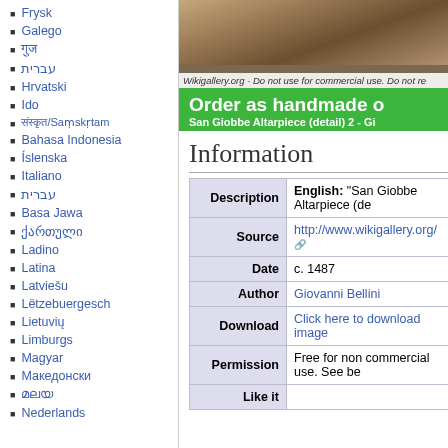Frysk
Galego
गुज
עברית
Hrvatski
Ido
संस्कृत/Saṃskṛtam
Bahasa Indonesia
Íslenska
Italiano
עברית
Basa Jawa
ქართული
Ladino
Latina
Latviešu
Lëtzebuergesch
Lietuvių
Limburgs
Magyar
Македонски
മലയ
Nederlands
[Figure (photo): Cropped photo of San Giobbe Altarpiece detail with watermark: Wikigallery.org - Do not use for commercial use. Do not re...]
Order as handmade o...
San Giobbe Altarpiece (detail) 2 - Gi...
Information
| Field | Value |
| --- | --- |
| Description | English: "San Giobbe Altarpiece (de... |
| Source | http://www.wikigallery.org/ |
| Date | c. 1487 |
| Author | Giovanni Bellini |
| Download | Click here to download image |
| Permission | Free for non commercial use. See be... |
| Like it |  |